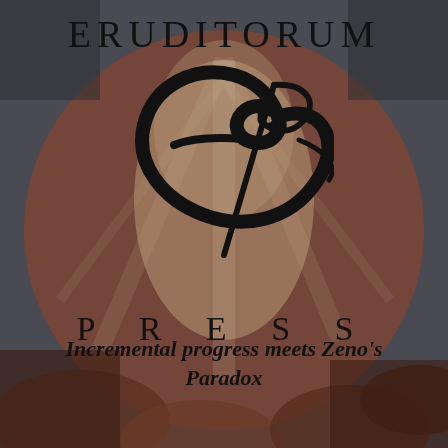ERUDITORUM
[Figure (logo): Eruditorum Press stylized cursive 'EP' logo in black on a muted reddish-brown background with abstract painted shapes]
PRESS
Incremental progress meets Zeno's Paradox